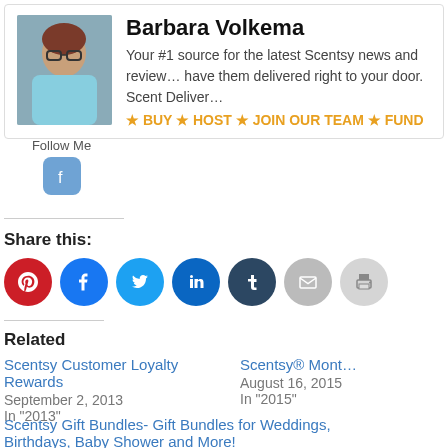Barbara Volkema
Your #1 source for the latest Scentsy news and reviews… have them delivered right to your door. Scent Deliver…
★ BUY ★ HOST ★ JOIN OUR TEAM ★ FUND
Follow Me
Share this:
[Figure (infographic): Row of social share icon circles: Pinterest (red), Facebook (blue), Twitter (light blue), LinkedIn (dark blue), Tumblr (dark navy), Email (gray), Print (light gray)]
Related
Scentsy Customer Loyalty Rewards
September 2, 2013
In "2013"
Scentsy® Mont…
August 16, 2015
In "2015"
Scentsy Gift Bundles- Gift Bundles for Weddings, Birthdays, Baby Shower and More!